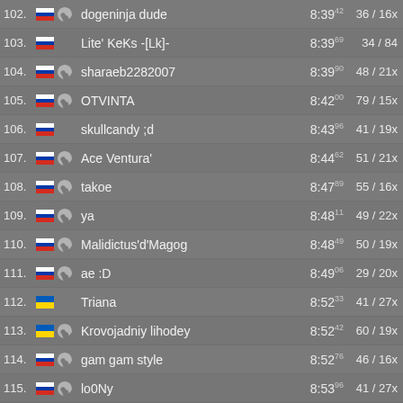| Rank | Country | Platform | Name | Time | Score |
| --- | --- | --- | --- | --- | --- |
| 102. | RU | Steam | dogeninja dude | 8:39 42 | 36 / 16x |
| 103. | RU |  | Lite' KeKs -[Lk]- | 8:39 69 | 34 / 84 |
| 104. | RU | Steam | sharaeb2282007 | 8:39 90 | 48 / 21x |
| 105. | RU | Steam | OTVINTA | 8:42 00 | 79 / 15x |
| 106. | RU |  | skullcandy ;d | 8:43 96 | 41 / 19x |
| 107. | RU | Steam | Ace Ventura' | 8:44 62 | 51 / 21x |
| 108. | RU | Steam | takoe | 8:47 89 | 55 / 16x |
| 109. | RU | Steam | ya | 8:48 11 | 49 / 22x |
| 110. | RU | Steam | Malidictus'd'Magog | 8:48 49 | 50 / 19x |
| 111. | RU | Steam | ae :D | 8:49 06 | 29 / 20x |
| 112. | UA |  | Triana | 8:52 33 | 41 / 27x |
| 113. | UA | Steam | Krovojadniy lihodey | 8:52 42 | 60 / 19x |
| 114. | RU | Steam | gam gam style | 8:52 76 | 46 / 16x |
| 115. | RU | Steam | lo0Ny | 8:53 96 | 41 / 27x |
| 116. | RU | Steam | HESOYAM | 8:54 41 | 68 / 21x |
| 117. | DE | Steam | squirt | 8:55 61 | 45 / 18x |
| 118. | RU |  | cyxue_nonku^huggies | 8:56 54 | 44 / 20x |
| 119. | RU | Steam | artM' | 8:56 99 | 25 / 13x |
| 120. | UA | Steam | Vreid | 8:57 58 | 45 / 25x |
| 121. | RU | Steam | stfu | 9:00 75 | 75 / 15x |
| 122. | AT | Steam | BeMeWe E36 [///] [///] | 9:01 54 | 38 / 17x |
| 123. | RU | Steam | 3a9lc* | 9:01 87 | 69 / 27x |
| 124. | UA |  | Totenkopf | 9:02 xx | 66 / xx |